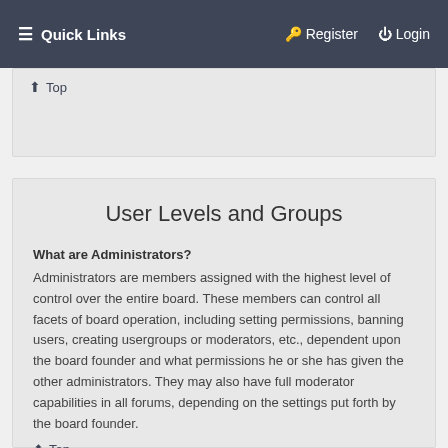Quick Links   Register   Login
↑ Top
User Levels and Groups
What are Administrators?
Administrators are members assigned with the highest level of control over the entire board. These members can control all facets of board operation, including setting permissions, banning users, creating usergroups or moderators, etc., dependent upon the board founder and what permissions he or she has given the other administrators. They may also have full moderator capabilities in all forums, depending on the settings put forth by the board founder.
↑ Top